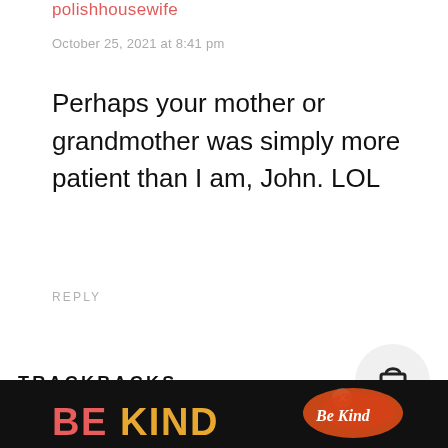polishhousewife
October 25, 2021 at 8:41 pm
Perhaps your mother or grandmother was simply more patient than I am, John. LOL
REPLY
TRACKBACKS
[Figure (other): Advertisement banner with 'BE KIND' text in red and gold on dark background, with decorative script logo and close button]